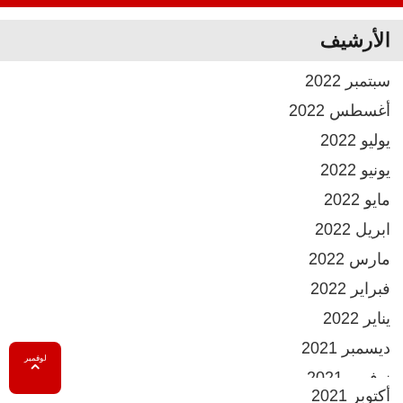الأرشيف
سبتمبر 2022
أغسطس 2022
يوليو 2022
يونيو 2022
مايو 2022
ابريل 2022
مارس 2022
فبراير 2022
يناير 2022
ديسمبر 2021
نوفمبر 2021
أكتوبر 2021